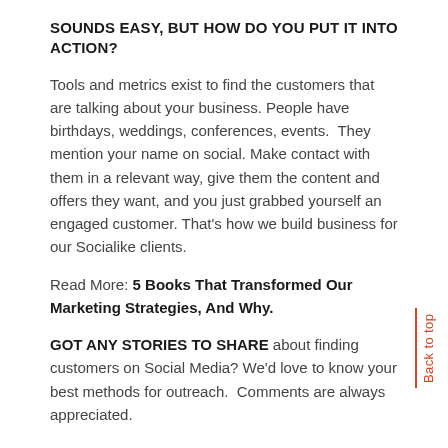SOUNDS EASY, BUT HOW DO YOU PUT IT INTO ACTION?
Tools and metrics exist to find the customers that are talking about your business. People have birthdays, weddings, conferences, events.  They mention your name on social. Make contact with them in a relevant way, give them the content and offers they want, and you just grabbed yourself an engaged customer. That's how we build business for our Socialike clients.
Read More: 5 Books That Transformed Our Marketing Strategies, And Why.
GOT ANY STORIES TO SHARE about finding customers on Social Media? We'd love to know your best methods for outreach.  Comments are always appreciated.